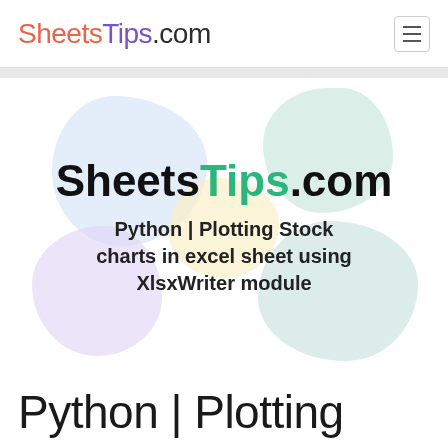SheetsTips.com
[Figure (logo): SheetsTips.com hero banner with colored blob decorations in blue, green, yellow, purple, and teal, displaying the site logo and article title]
Python | Plotting Stock charts in excel sheet using XlsxWriter module
Python | Plotting